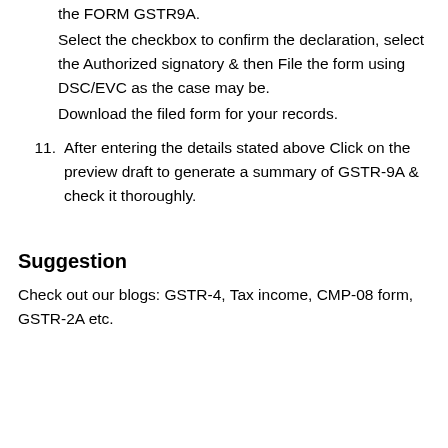the FORM GSTR9A.
Select the checkbox to confirm the declaration, select the Authorized signatory & then File the form using DSC/EVC as the case may be.
Download the filed form for your records.
11. After entering the details stated above Click on the preview draft to generate a summary of GSTR-9A & check it thoroughly.
Suggestion
Check out our blogs: GSTR-4, Tax income, CMP-08 form, GSTR-2A etc.